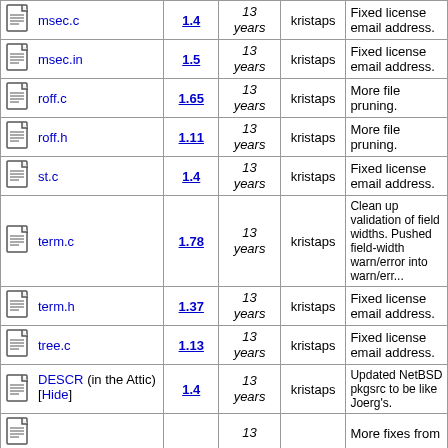| File | Rev. | Age | Author | Log message |
| --- | --- | --- | --- | --- |
| msec.c | 1.4 | 13 years | kristaps | Fixed license email address. |
| msec.in | 1.5 | 13 years | kristaps | Fixed license email address. |
| roff.c | 1.65 | 13 years | kristaps | More file pruning. |
| roff.h | 1.11 | 13 years | kristaps | More file pruning. |
| st.c | 1.4 | 13 years | kristaps | Fixed license email address. |
| term.c | 1.78 | 13 years | kristaps | Clean up validation of field widths. Pushed field-width warn/error into warn/err... |
| term.h | 1.37 | 13 years | kristaps | Fixed license email address. |
| tree.c | 1.13 | 13 years | kristaps | Fixed license email address. |
| DESCR (in the Attic) [Hide] | 1.4 | 13 years | kristaps | Updated NetBSD pkgsrc to be like Joerg's. |
|  |  | 13 |  | More fixes from |